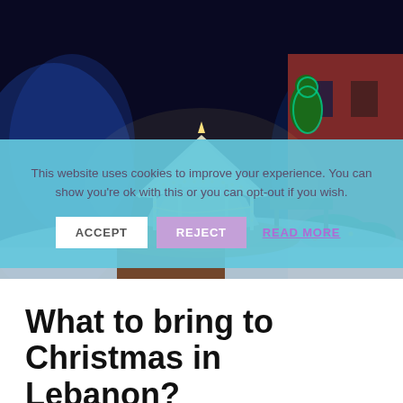[Figure (photo): Night-time outdoor scene of a white gazebo decorated with Christmas lights, surrounded by snow-dusted ground, colorful light displays, and a red brick building in the background.]
This website uses cookies to improve your experience. You can show you're ok with this or you can opt-out if you wish. ACCEPT REJECT READ MORE
What to bring to Christmas in Lebanon?
Much of the entertainment this year takes place outdoors, so you'll want to dress warmly for the